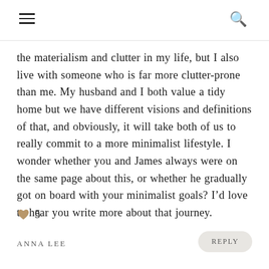≡  🔍
the materialism and clutter in my life, but I also live with someone who is far more clutter-prone than me. My husband and I both value a tidy home but we have different visions and definitions of that, and obviously, it will take both of us to really commit to a more minimalist lifestyle. I wonder whether you and James always were on the same page about this, or whether he gradually got on board with your minimalist goals? I'd love to hear you write more about that journey. ♥ 5
ANNA LEE
REPLY